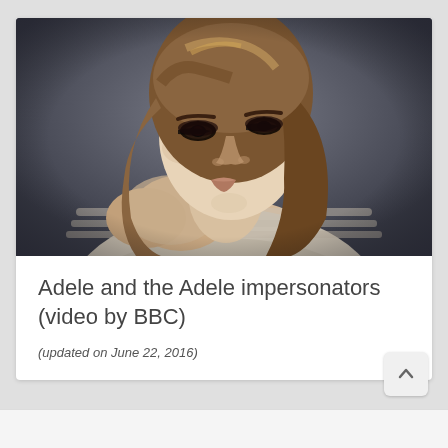[Figure (photo): Portrait photo of Adele, a woman with light brown/blonde wavy hair, wearing a cream/beige knit sweater, with dark eye makeup, posed with hands near her face against a dark gray background.]
Adele and the Adele impersonators (video by BBC)
(updated on June 22, 2016)